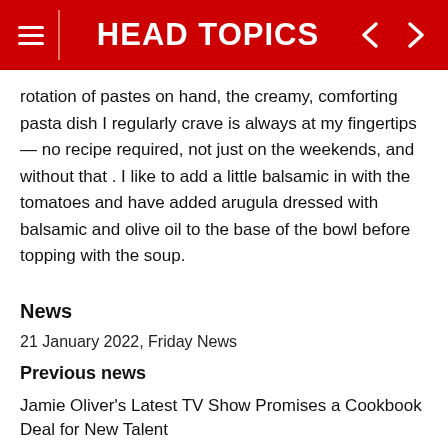HEAD TOPICS
rotation of pastes on hand, the creamy, comforting pasta dish I regularly crave is always at my fingertips — no recipe required, not just on the weekends, and without that . I like to add a little balsamic in with the tomatoes and have added arugula dressed with balsamic and olive oil to the base of the bowl before topping with the soup.
News
21 January 2022, Friday News
Previous news
Jamie Oliver's Latest TV Show Promises a Cookbook Deal for New Talent